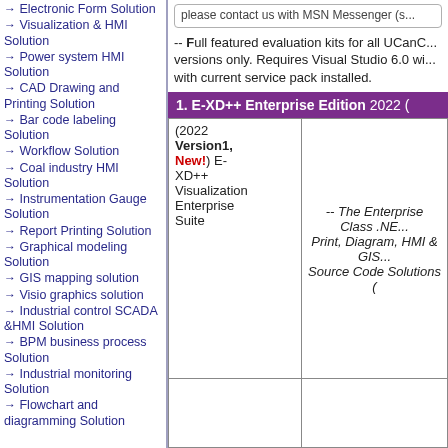→ Electronic Form Solution
→ Visualization & HMI Solution
→ Power system HMI Solution
→ CAD Drawing and Printing Solution
→ Bar code labeling Solution
→ Workflow Solution
→ Coal industry HMI Solution
→ Instrumentation Gauge Solution
→ Report Printing Solution
→ Graphical modeling Solution
→ GIS mapping solution
→ Visio graphics solution
→ Industrial control SCADA &HMI Solution
→ BPM business process Solution
→ Industrial monitoring Solution
→ Flowchart and diagramming Solution
please contact us with MSN Messenger (s...
-- Full featured evaluation kits for all UCanC... versions only. Requires Visual Studio 6.0 wi... with current service pack installed.
1. E-XD++ Enterprise Edition 2022 (
| Product | Description |
| --- | --- |
| (2022 Version1, New!) E-XD++ Visualization Enterprise Suite | -- The Enterprise Class .NE... Print, Diagram, HMI & GIS... Source Code Solutions ( |